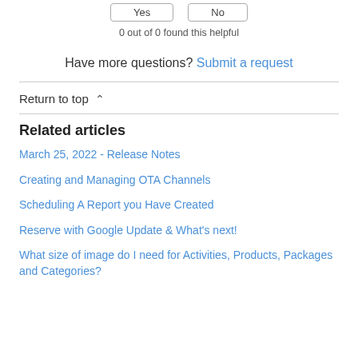Yes | No (buttons)
0 out of 0 found this helpful
Have more questions? Submit a request
Return to top ∧
Related articles
March 25, 2022 - Release Notes
Creating and Managing OTA Channels
Scheduling A Report you Have Created
Reserve with Google Update & What's next!
What size of image do I need for Activities, Products, Packages and Categories?